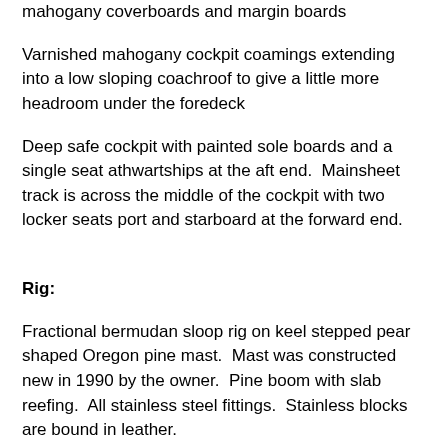mahogany coverboards and margin boards
Varnished mahogany cockpit coamings extending into a low sloping coachroof to give a little more headroom under the foredeck
Deep safe cockpit with painted sole boards and a single seat athwartships at the aft end.  Mainsheet track is across the middle of the cockpit with two locker seats port and starboard at the forward end.
Rig:
Fractional bermudan sloop rig on keel stepped pear shaped Oregon pine mast.  Mast was constructed new in 1990 by the owner.  Pine boom with slab reefing.  All stainless steel fittings.  Stainless blocks are bound in leather.
Stainless steel standing rigging new 2005.  Twin lower